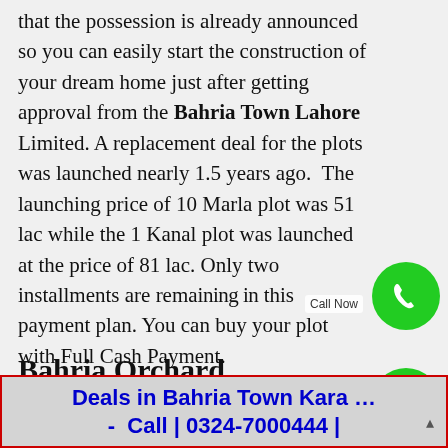that the possession is already announced so you can easily start the construction of your dream home just after getting approval from the Bahria Town Lahore Limited. A replacement deal for the plots was launched nearly 1.5 years ago. The launching price of 10 Marla plot was 51 lac while the 1 Kanal plot was launched at the price of 81 lac. Only two installments are remaining in this payment plan. You can buy your plot with Full Cash Payment.
Bahria Orchard Phase 4 Location
Deals in Bahria Town Kara... - Call | 0324-7000444 |